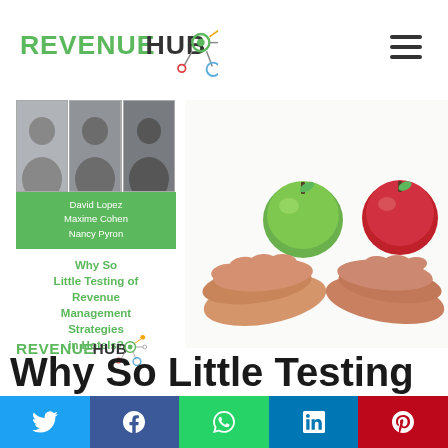[Figure (logo): Revenue Hub logo with green 'REVENUE' text, bold 'HUB' and network node graphic]
[Figure (photo): Three author headshots in grayscale arranged side by side]
David Lopez
Maxime Cohen
Nancy Pyron
Why So Little Testing of Revenue Management Strategies in Hotels?
[Figure (logo): Revenue Hub small logo]
[Figure (photo): Two hands each holding an apple (green and red), face to face on white background]
Why So Little Testing
[Figure (infographic): Social sharing bar with Twitter, Facebook, WhatsApp, LinkedIn, Pinterest buttons]